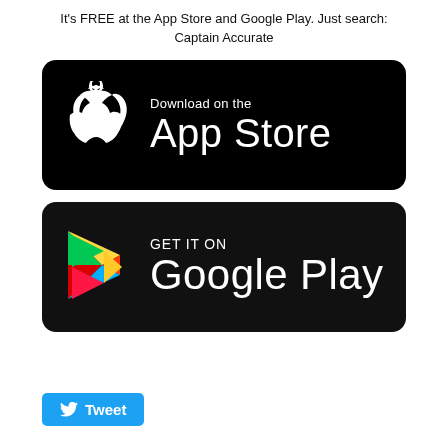It's FREE at the App Store and Google Play. Just search: Captain Accurate
[Figure (logo): App Store download badge — black rounded rectangle with white Apple logo and text 'Download on the App Store']
[Figure (logo): Google Play download badge — black rounded rectangle with Google Play triangle logo and text 'GET IT ON Google Play']
[Figure (other): Tweet button — blue rounded button with Twitter bird icon and 'Tweet' text]